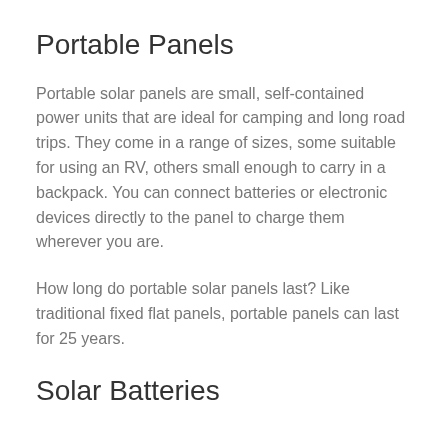Portable Panels
Portable solar panels are small, self-contained power units that are ideal for camping and long road trips. They come in a range of sizes, some suitable for using an RV, others small enough to carry in a backpack. You can connect batteries or electronic devices directly to the panel to charge them wherever you are.
How long do portable solar panels last? Like traditional fixed flat panels, portable panels can last for 25 years.
Solar Batteries